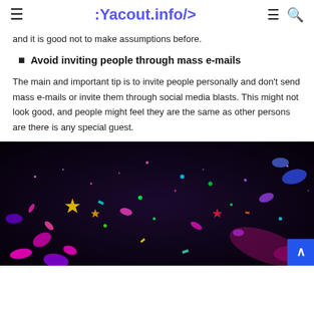:Yacout.info/>
and it is good not to make assumptions before.
Avoid inviting people through mass e-mails
The main and important tip is to invite people personally and don’t send mass e-mails or invite them through social media blasts. This might not look good, and people might feel they are the same as other persons are there is any special guest.
[Figure (photo): Colorful confetti and glitter particles scattered against a dark background, with pink, purple, yellow, green and blue pieces.]